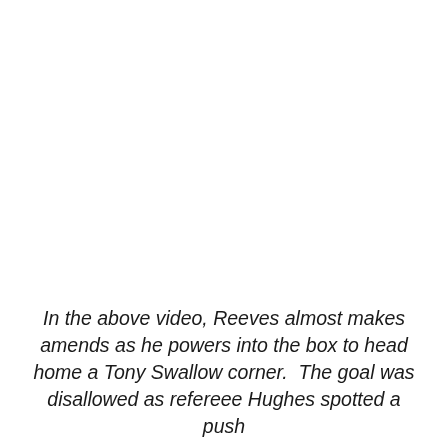In the above video, Reeves almost makes amends as he powers into the box to head home a Tony Swallow corner.  The goal was disallowed as refereee Hughes spotted a push